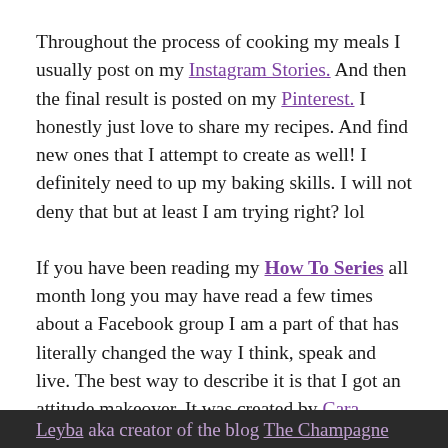Throughout the process of cooking my meals I usually post on my Instagram Stories. And then the final result is posted on my Pinterest. I honestly just love to share my recipes. And find new ones that I attempt to create as well! I definitely need to up my baking skills. I will not deny that but at least I am trying right? lol
If you have been reading my How To Series all month long you may have read a few times about a Facebook group I am a part of that has literally changed the way I think, speak and live. The best way to describe it is that I got an attitude makeover. It was created by Cara Alwill Leyba aka creator of the blog The Champagne